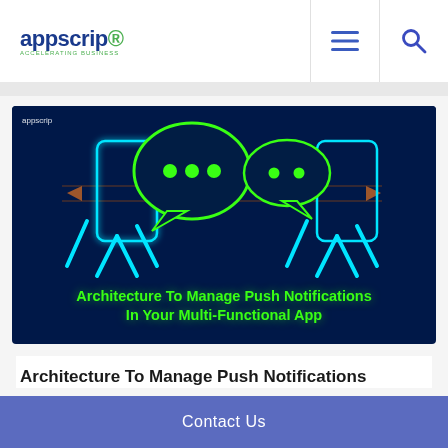appscrip — navigation header with hamburger menu and search icon
[Figure (illustration): Dark navy blue background illustration showing two hands holding smartphones with glowing neon cyan-outlined phone screens and two neon green speech bubble icons with dots, representing push notifications. Text overlay reads: Architecture To Manage Push Notifications In Your Multi-Functional App. Appscrip watermark in top left.]
Architecture To Manage Push Notifications
Contact Us